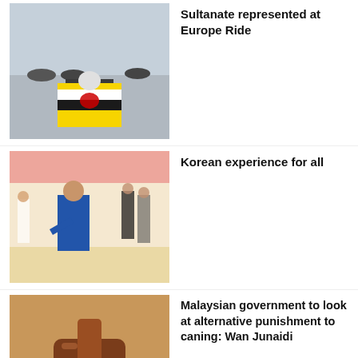[Figure (photo): Person holding Brunei flag in front of motorcycles, wearing helmet]
Sultanate represented at Europe Ride
[Figure (photo): Man in blue suit participating in a Korean cultural activity in a room with colorful decorations]
Korean experience for all
[Figure (photo): A wooden gavel on a book, representing law and justice]
Malaysian government to look at alternative punishment to caning: Wan Junaidi
[Figure (photo): Buildings/skyscrapers, partial view]
Dozens suffer minor injuries in